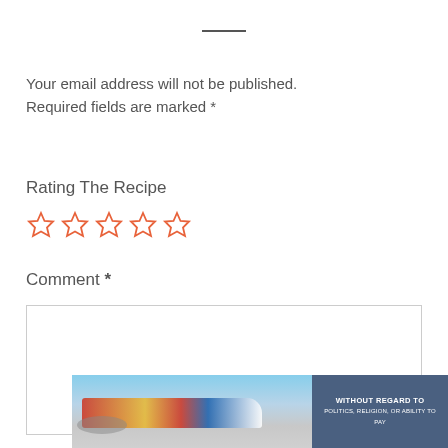— (horizontal divider line)
Your email address will not be published. Required fields are marked *
Rating The Recipe
☆☆☆☆☆ (5 empty stars, orange/red outline)
Comment *
(Comment text area input box)
[Figure (photo): Advertisement showing airplane being loaded with cargo, with a dark blue text box reading WITHOUT REGARD TO (and smaller text below)]